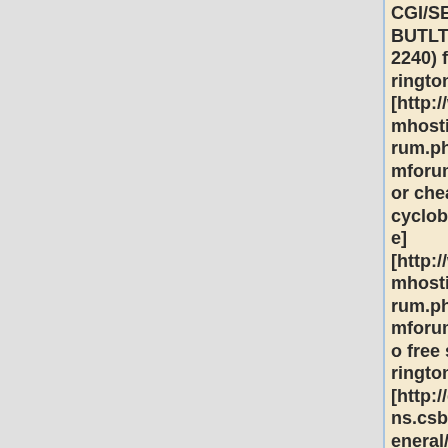CGI/SEND1^WEBUTLTY(200,83 2240) free sharp ringtones] [http://www.forumhosting.org/forum.php?mforum=monor or cheap cyclobenzaprine] [http://www.forumhosting.org/forum.php?mforum=rellilet o free sprint ringtones] [http://discussions.csbsju.edu/general/messages/25/rojyl-228.html cheap valium]